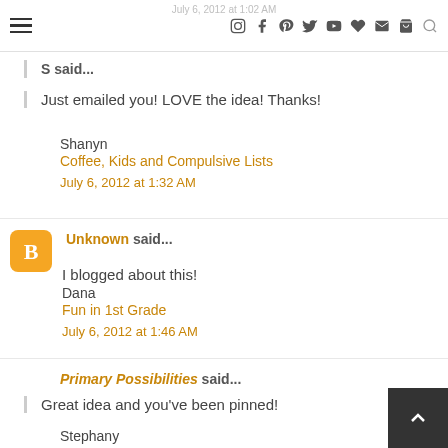July 6, 2012 at 1:02 AM — navigation icons
S said...
Just emailed you! LOVE the idea! Thanks!
Shanyn
Coffee, Kids and Compulsive Lists
July 6, 2012 at 1:32 AM
Unknown said...
I blogged about this!
Dana
Fun in 1st Grade
July 6, 2012 at 1:46 AM
Primary Possibilities said...
Great idea and you've been pinned!
Stephany